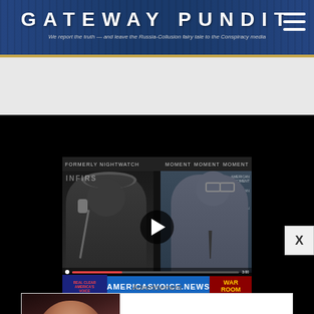GATEWAY PUNDIT — We report the truth — and leave the Russia-Collusion fairy tale to the Conspiracy media
[Figure (screenshot): Embedded video player showing two people: a man with headphones on the left (at a microphone) and a man in a suit on the right. Bottom bar shows AMERICASVOICE.NEWS branding and WAR ROOM logo. Play button overlay in center.]
X
Advertisement
[Figure (photo): Advertisement showing a woman's face on the left side, with text '8 Most Beautiful Modern Chinese Actresses' and source 'Brainberries']